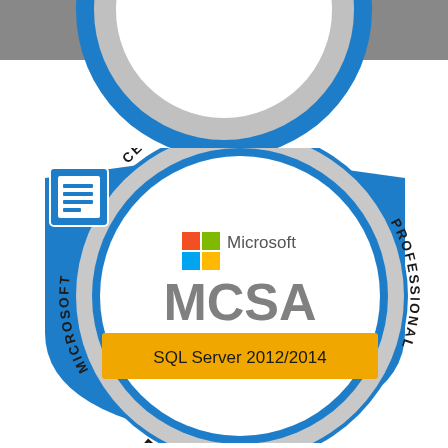[Figure (logo): Partial Microsoft Certified Professional badge at top showing 'and Analytics', 'BACK TO TOP' text, and 'Earned 2016' on blue circular badge border — cropped at top of page]
[Figure (logo): Microsoft Certified Professional MCSA SQL Server 2012/2014 badge. Blue shield/circle shape with grey border ring containing 'MICROSOFT CERTIFIED PROFESSIONAL' text. White center with Microsoft logo (four colored squares), 'Microsoft' text, 'MCSA' in large grey letters, gold/yellow banner with 'SQL Server 2012/2014', and 'Earned 2016' on bottom border. Document/list icon in upper left corner.]